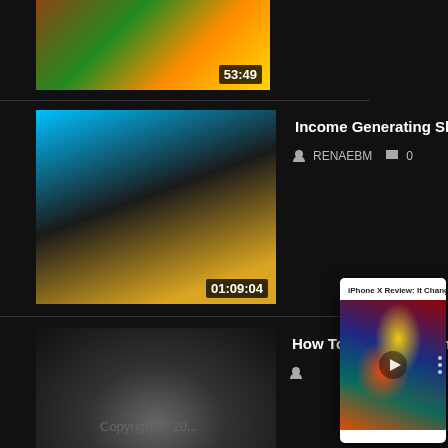[Figure (screenshot): Video thumbnail with colorful art, showing duration 53:49]
53:49
[Figure (screenshot): Video thumbnail for Income Generating Skills for Africa, duration 01:09:04]
Income Generating Skills for Africa
RENAEBM  0
01:09:04
[Figure (screenshot): Video thumbnail for How To Mine Your Mind, duration 01:10:55, with coal/mineral imagery]
How To Mine Your Mind
01:10:55
[Figure (screenshot): Popup video player showing iPhone X Review: It Change... with colorful portrait artwork and play button]
iPhone X Review: It Change...
Copyright © 20...